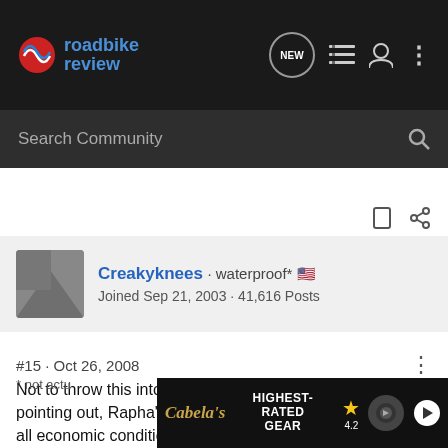roadbike review — navigation bar with search
Creakyknees · waterproof* 🇺🇸
Joined Sep 21, 2003 · 41,616 Posts
#15 · Oct 26, 2008
Not to throw this into PO, but as the D's are fond of pointing out, Rapha's target market generally does well in all economic conditions.
* not actu
[Figure (screenshot): Cabela's advertisement banner: HIGHEST-RATED GEAR, rating 4.2 stars, with gear/appliance image and play button]